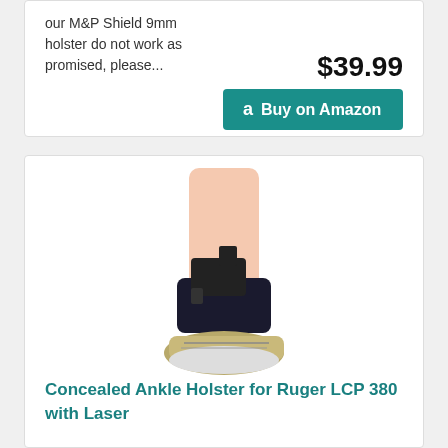our M&P Shield 9mm holster do not work as promised, please...
$39.99
Buy on Amazon
[Figure (photo): Ankle holster worn on a person's lower leg and ankle, with a black gun secured in it, wearing a running shoe.]
Concealed Ankle Holster for Ruger LCP 380 with Laser
fits right hand on